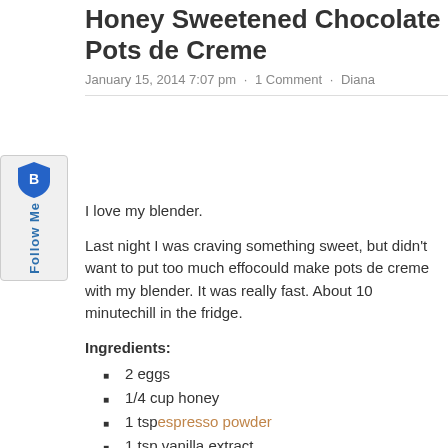Honey Sweetened Chocolate Pots de Creme
January 15, 2014 7:07 pm · 1 Comment · Diana
I love my blender.
Last night I was craving something sweet, but didn't want to put too much effort into it. I remembered I could make pots de creme with my blender. It was really fast. About 10 minutes of prep and then it needs to chill in the fridge.
Ingredients:
2 eggs
1/4 cup honey
1 tsp espresso powder
1 tsp vanilla extract
4 oz baking chocolate (unsweetened)
3/4 cup cream (sub coconut milk for dairy free or paleo)
Directions: